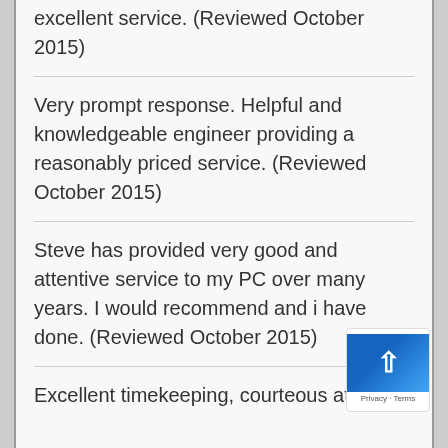excellent service. (Reviewed October 2015)
Very prompt response. Helpful and knowledgeable engineer providing a reasonably priced service. (Reviewed October 2015)
Steve has provided very good and attentive service to my PC over many years. I would recommend and i have done. (Reviewed October 2015)
Excellent timekeeping, courteous at